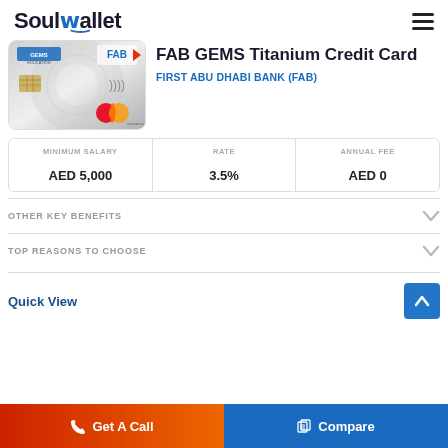SoulWallet
[Figure (photo): FAB GEMS Titanium Credit Card image showing a silver Mastercard with GEMS Education and FAB logos]
FAB GEMS Titanium Credit Card
FIRST ABU DHABI BANK (FAB)
| MINIMUM SALARY | RATE | ANNUAL FEE |
| --- | --- | --- |
| AED 5,000 | 3.5% | AED 0 |
OTHER KEY BENEFITS
TOP REASONS TO CHOOSE
Quick View
Get A Call
Compare